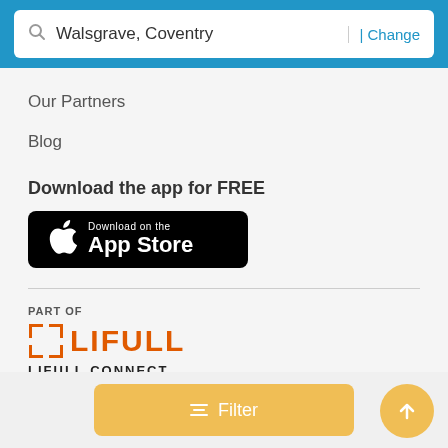[Figure (screenshot): Search bar with location 'Walsgrave, Coventry' and a 'Change' link on a blue background]
Our Partners
Blog
Download the app for FREE
[Figure (logo): Download on the App Store button (black background with Apple logo)]
[Figure (logo): PART OF LIFULL CONNECT logo with orange bracket icon and orange LIFULL text]
[Figure (screenshot): Filter button (yellow/gold) and scroll-to-top circular button at bottom of page]